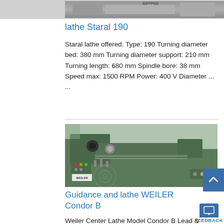[Figure (photo): Top portion of a lathe machine (Staral 190) — partial view showing the machine body with a badge reading '190']
lathe Staral 190
Staral lathe offered. Type: 190 Turning diameter bed: 380 mm Turning diameter support: 210 mm Turning length: 680 mm Spindle bore: 38 mm Speed max: 1500 RPM Power: 400 V Diameter ... ...
[Figure (photo): Weiler Condor B center lathe — green machine shown from the front, with headstock, carriage, and tailstock visible. Weiler brand label on the front panel.]
Guidance and lathe WEILER Condor B
Weiler Center Lathe Model Condor B Lead &